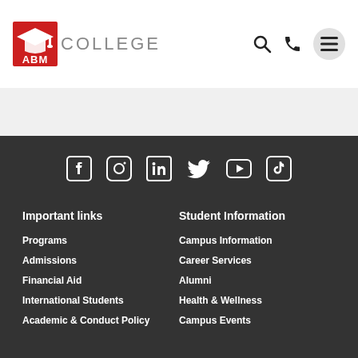ABM COLLEGE
[Figure (logo): ABM College logo with red background box containing white mortarboard icon and 'ABM' text, followed by 'COLLEGE' in gray]
[Figure (infographic): Social media icons row: Facebook, Instagram, LinkedIn, Twitter, YouTube, TikTok]
Important links
Programs
Admissions
Financial Aid
International Students
Academic & Conduct Policy
Student Information
Campus Information
Career Services
Alumni
Health & Wellness
Campus Events